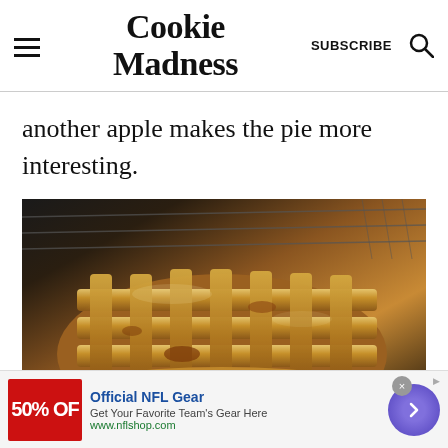Cookie Madness | SUBSCRIBE
another apple makes the pie more interesting.
[Figure (photo): A golden-brown lattice-top apple pie cooling on a wire rack, viewed from close up showing the woven pastry strips with caramelized sugar.]
Official NFL Gear
Get Your Favorite Team's Gear Here
www.nflshop.com